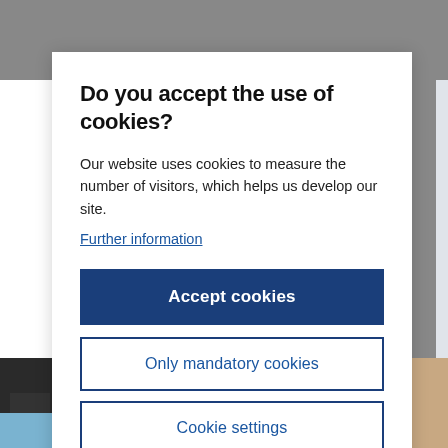Do you accept the use of cookies?
Our website uses cookies to measure the number of visitors, which helps us develop our site.
Further information
Accept cookies
Only mandatory cookies
Cookie settings
[Figure (photo): Group of people standing together, partially visible at the bottom of the page]